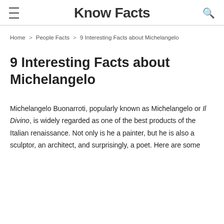Know Facts
Home > People Facts > 9 Interesting Facts about Michelangelo
9 Interesting Facts about Michelangelo
Michelangelo Buonarroti, popularly known as Michelangelo or Il Divino, is widely regarded as one of the best products of the Italian renaissance. Not only is he a painter, but he is also a sculptor, an architect, and surprisingly, a poet. Here are some